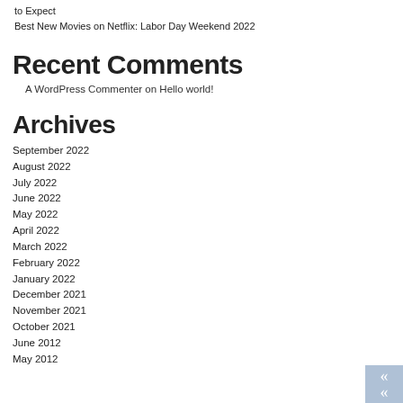to Expect
Best New Movies on Netflix: Labor Day Weekend 2022
Recent Comments
A WordPress Commenter on Hello world!
Archives
September 2022
August 2022
July 2022
June 2022
May 2022
April 2022
March 2022
February 2022
January 2022
December 2021
November 2021
October 2021
June 2012
May 2012